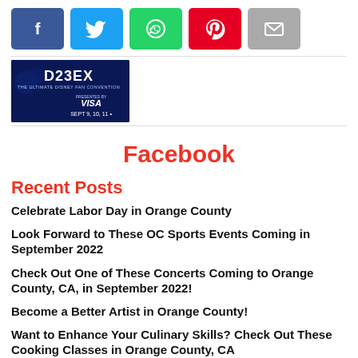[Figure (other): Social share buttons: Facebook (blue), Twitter (light blue), WhatsApp (green), Pinterest (red), Email (gray)]
[Figure (other): D23 Expo advertisement banner with Disney logo, VISA sponsorship, Sept 9, 10, 11 dates on dark blue background]
Facebook
Recent Posts
Celebrate Labor Day in Orange County
Look Forward to These OC Sports Events Coming in September 2022
Check Out One of These Concerts Coming to Orange County, CA, in September 2022!
Become a Better Artist in Orange County!
Want to Enhance Your Culinary Skills? Check Out These Cooking Classes in Orange County, CA